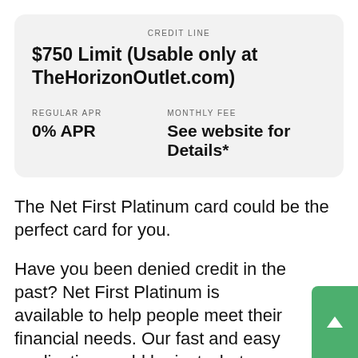CREDIT LINE
$750 Limit (Usable only at TheHorizonOutlet.com)
REGULAR APR
0% APR
MONTHLY FEE
See website for Details*
The Net First Platinum card could be the perfect card for you.
Have you been denied credit in the past? Net First Platinum is available to help people meet their financial needs. Our fast and easy application could be just what you need. A $750 credit line (Usable only at